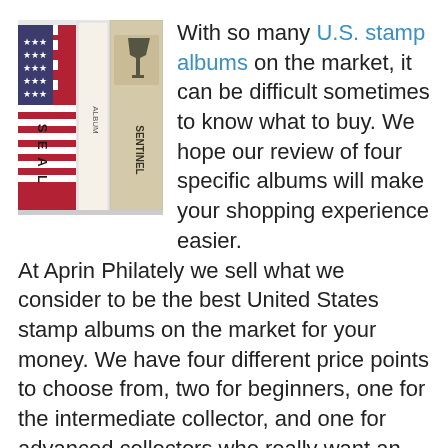[Figure (photo): Photo of three U.S. stamp albums standing upright, with an American flag-themed cover on the left album labeled SEAL, a plain white spine in the middle, and a tan/beige album labeled SENTINEL on the right.]
With so many U.S. stamp albums on the market, it can be difficult sometimes to know what to buy. We hope our review of four specific albums will make your shopping experience easier. At Aprin Philately we sell what we consider to be the best United States stamp albums on the market for your money. We have four different price points to choose from, two for beginners, one for the intermediate collector, and one for advanced collectors who really want an album that delivers visual punch. Following is a description of each of these excellent albums.